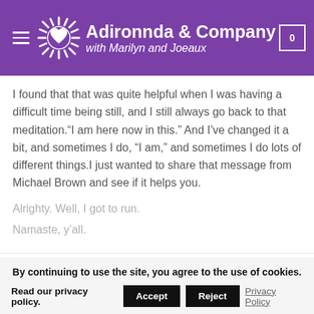Adironnda & Company with Marilyn and Joeaux
I found that that was quite helpful when I was having a difficult time being still, and I still always go back to that meditation.“I am here now in this.” And I’ve changed it a bit, and sometimes I do, “I am,” and sometimes I do lots of different things.I just wanted to share that message from Michael Brown and see if it helps you.
Alrighty. Well, I got to run.
Namaste, y’all.
By continuing to use the site, you agree to the use of cookies. Read our privacy policy. Accept Reject Privacy Policy